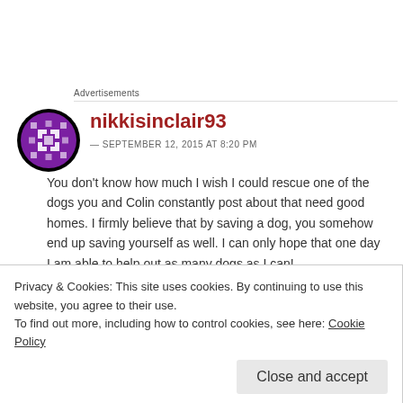Advertisements
[Figure (logo): Purple and white avatar icon with geometric/snowflake pattern in circular black border]
nikkisinclair93
— SEPTEMBER 12, 2015 AT 8:20 PM
You don't know how much I wish I could rescue one of the dogs you and Colin constantly post about that need good homes. I firmly believe that by saving a dog, you somehow end up saving yourself as well. I can only hope that one day I am able to help out as many dogs as I can!
Privacy & Cookies: This site uses cookies. By continuing to use this website, you agree to their use.
To find out more, including how to control cookies, see here: Cookie Policy
Close and accept